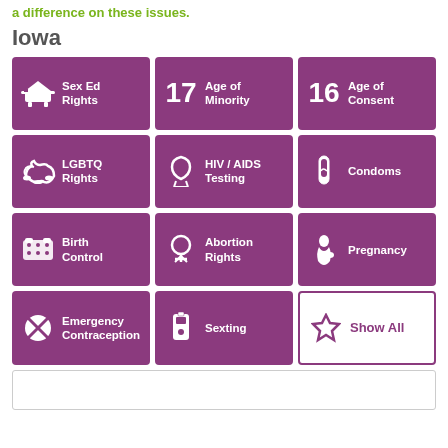a difference on these issues.
Iowa
[Figure (infographic): A 4x3 grid of purple tiles representing topic categories for Iowa: Sex Ed Rights, Age of Minority (17), Age of Consent (16), LGBTQ Rights, HIV/AIDS Testing, Condoms, Birth Control, Abortion Rights, Pregnancy, Emergency Contraception, Sexting, and Show All (white outline tile with star icon).]